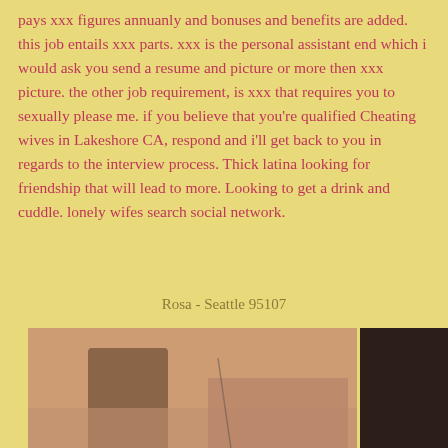pays xxx figures annuanly and bonuses and benefits are added. this job entails xxx parts. xxx is the personal assistant end which i would ask you send a resume and picture or more then xxx picture. the other job requirement, is xxx that requires you to sexually please me. if you believe that you're qualified Cheating wives in Lakeshore CA, respond and i'll get back to you in regards to the interview process. Thick latina looking for friendship that will lead to more. Looking to get a drink and cuddle. lonely wifes search social network.
Rosa - Seattle 95107
[Figure (photo): A collage of four photographs arranged in a 2x2 grid]